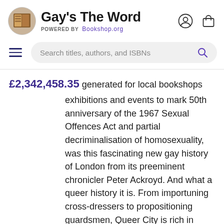Gay's The Word — POWERED BY Bookshop.org
[Figure (screenshot): Search bar with hamburger menu icon on the left and magnifying glass icon on the right, with placeholder text 'Search titles, authors, and ISBNs']
£2,342,458.35 generated for local bookshops
exhibitions and events to mark 50th anniversary of the 1967 Sexual Offences Act and partial decriminalisation of homosexuality, was this fascinating new gay history of London from its preeminent chronicler Peter Ackroyd. And what a queer history it is. From importuning cross-dressers to propositioning guardsmen, Queer City is rich in amazing detail, teeming with incredible characters and full of extraordinary facts. For instance did you know that a male brothel